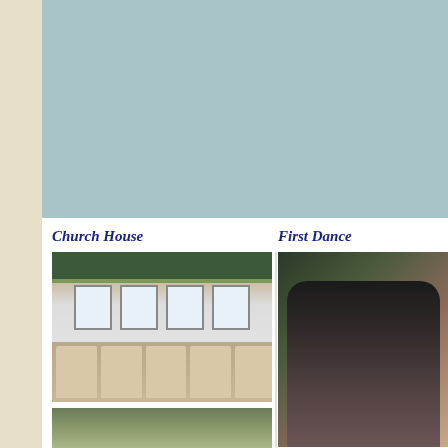[Figure (photo): Large blue-gray decorative panel at the top of the page]
Church House
First Dance
[Figure (photo): Interior of a decorated church house with floral garlands, white chairs, and windows]
[Figure (photo): Wedding couple during first dance, groom in dark suit, bride in white with veil, surrounded by floral decorations]
[Figure (photo): Partial view of another photo at the bottom of the page]